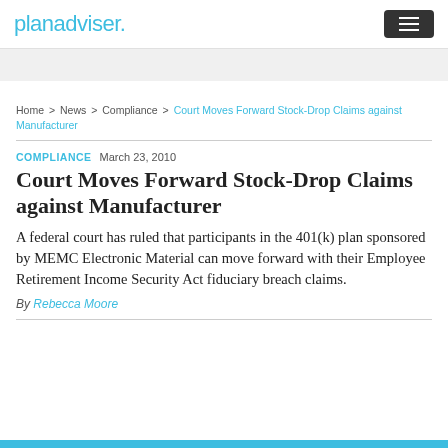planadviser.
Home > News > Compliance > Court Moves Forward Stock-Drop Claims against Manufacturer
COMPLIANCE  March 23, 2010
Court Moves Forward Stock-Drop Claims against Manufacturer
A federal court has ruled that participants in the 401(k) plan sponsored by MEMC Electronic Material can move forward with their Employee Retirement Income Security Act fiduciary breach claims.
By Rebecca Moore